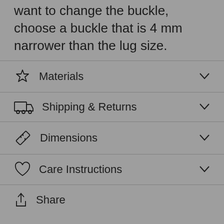want to change the buckle, choose a buckle that is 4 mm narrower than the lug size.
Materials
Shipping & Returns
Dimensions
Care Instructions
Share